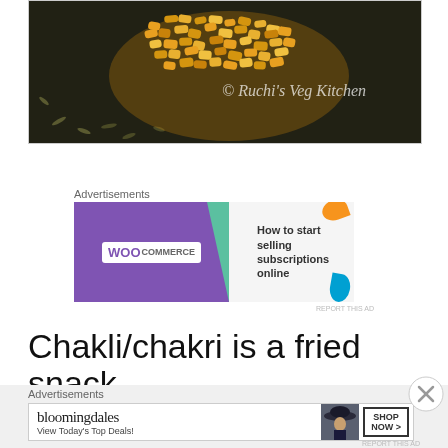[Figure (photo): Close-up photo of chakli/chakri fried snack food, golden yellow textured pieces on dark background with watermark text 'Rucho's Veg Kitchen']
Advertisements
[Figure (other): WooCommerce advertisement banner - purple background with WooCommerce logo, teal arrow, text 'How to start selling subscriptions online', orange and blue decorative shapes]
REPORT THIS AD
Chakli/chakri is a fried snack
Advertisements
[Figure (other): Bloomingdale's advertisement - logo, woman in hat, 'View Today's Top Deals!', SHOP NOW > button]